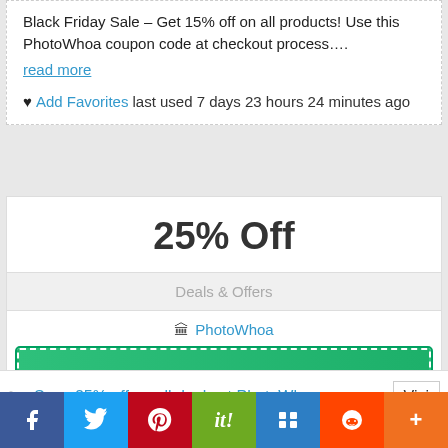Black Friday Sale – Get 15% off on all products! Use this PhotoWhoa coupon code at checkout process….
read more
♥ Add Favorites last used 7 days 23 hours 24 minutes ago
25% Off
Deals & Offers
🏛 PhotoWhoa
50% WORKS
2 VOTES
Save 25% off on all deals at PhotoWhoa
Visi